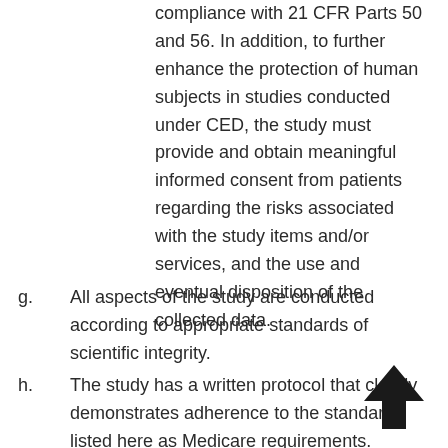compliance with 21 CFR Parts 50 and 56. In addition, to further enhance the protection of human subjects in studies conducted under CED, the study must provide and obtain meaningful informed consent from patients regarding the risks associated with the study items and/or services, and the use and eventual disposition of the collected data.
g. All aspects of the study are conducted according to appropriate standards of scientific integrity.
h. The study has a written protocol that clearly demonstrates adherence to the standards listed here as Medicare requirements.